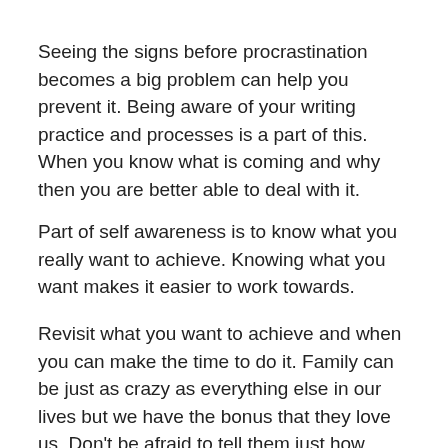Seeing the signs before procrastination becomes a big problem can help you prevent it. Being aware of your writing practice and processes is a part of this. When you know what is coming and why then you are better able to deal with it.
Part of self awareness is to know what you really want to achieve. Knowing what you want makes it easier to work towards.
Revisit what you want to achieve and when you can make the time to do it. Family can be just as crazy as everything else in our lives but we have the bonus that they love us. Don't be afraid to tell them just how important your writing is and how they can help. You never know, your